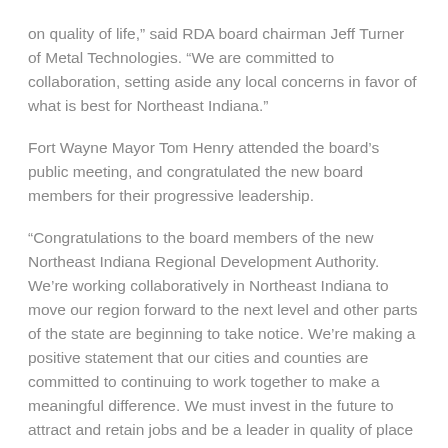on quality of life,” said RDA board chairman Jeff Turner of Metal Technologies. “We are committed to collaboration, setting aside any local concerns in favor of what is best for Northeast Indiana.”
Fort Wayne Mayor Tom Henry attended the board’s public meeting, and congratulated the new board members for their progressive leadership.
“Congratulations to the board members of the new Northeast Indiana Regional Development Authority. We’re working collaboratively in Northeast Indiana to move our region forward to the next level and other parts of the state are beginning to take notice. We’re making a positive statement that our cities and counties are committed to continuing to work together to make a meaningful difference. We must invest in the future to attract and retain jobs and be a leader in quality of place amenities,” said Henry.